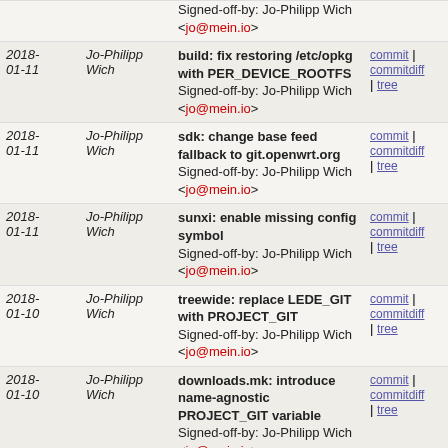| Date | Author | Message | Links |
| --- | --- | --- | --- |
| 2018-01-11 | Jo-Philipp Wich | build: fix restoring /etc/opkg with PER_DEVICE_ROOTFS
Signed-off-by: Jo-Philipp Wich <jo@mein.io> | commit | commitdiff | tree |
| 2018-01-11 | Jo-Philipp Wich | sdk: change base feed fallback to git.openwrt.org
Signed-off-by: Jo-Philipp Wich <jo@mein.io> | commit | commitdiff | tree |
| 2018-01-11 | Jo-Philipp Wich | sunxi: enable missing config symbol
Signed-off-by: Jo-Philipp Wich <jo@mein.io> | commit | commitdiff | tree |
| 2018-01-10 | Jo-Philipp Wich | treewide: replace LEDE_GIT with PROJECT_GIT
Signed-off-by: Jo-Philipp Wich <jo@mein.io> | commit | commitdiff | tree |
| 2018-01-10 | Jo-Philipp Wich | downloads.mk: introduce name-agnostic PROJECT_GIT variable
Signed-off-by: Jo-Philipp Wich <jo@mein.io> | commit | commitdiff | tree |
| 2018-01-09 | Jo-Philipp Wich | armvirt: re-enable VFP support
Signed-off-by: Jo-Philipp Wich <jo@mein.io> | commit | commitdiff | tree |
| 2018-01-09 | Jo-Philipp Wich | armvirt: 64: add missing kernel config symbols
Signed-off-by: Jo-Philipp Wich <jo@mein.io> | commit | commitdiff | tree |